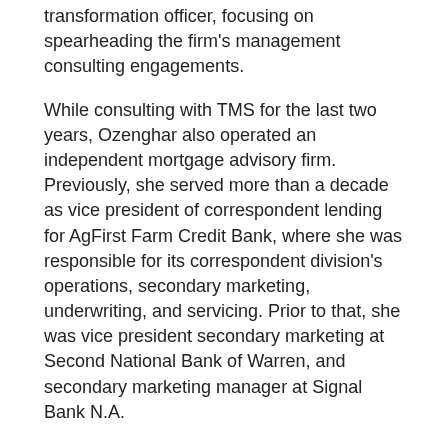transformation officer, focusing on spearheading the firm's management consulting engagements.
While consulting with TMS for the last two years, Ozenghar also operated an independent mortgage advisory firm. Previously, she served more than a decade as vice president of correspondent lending for AgFirst Farm Credit Bank, where she was responsible for its correspondent division's operations, secondary marketing, underwriting, and servicing. Prior to that, she was vice president secondary marketing at Second National Bank of Warren, and secondary marketing manager at Signal Bank N.A.
"Beth Ozenghar's depth of mortgage expertise, as well as her consultative temperament, makes her ideal to serve as president and COO of TMS, both for operating our business and serving our treasured clients," said David Lykken. "In this era of unprecedented industry disruption and opportunity, mortgage lenders need experienced guidance from a trusted advisor like never before, and with Beth serving as president, TMS is ideally positioned to deliver on that need."